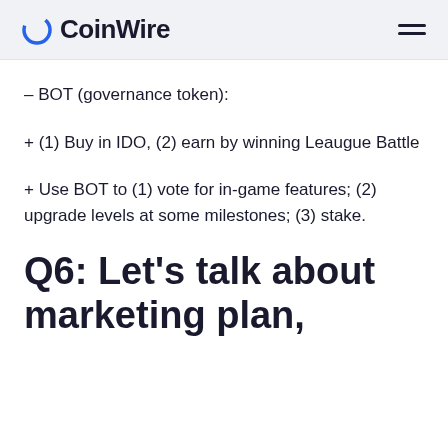CoinWire
– BOT (governance token):
+ (1) Buy in IDO, (2) earn by winning Leaugue Battle
+ Use BOT to (1) vote for in-game features; (2) upgrade levels at some milestones; (3) stake.
Q6: Let's talk about marketing plan,